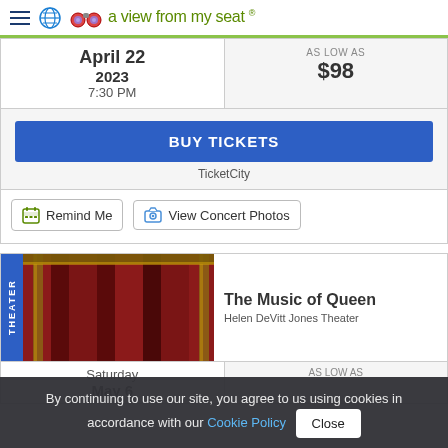a view from my seat ®
| Date | Price |
| --- | --- |
| April 22
2023
7:30 PM | AS LOW AS
$98 |
BUY TICKETS
TicketCity
Remind Me
View Concert Photos
[Figure (photo): Theater stage with red curtains and ornate golden columns]
The Music of Queen
Helen DeVitt Jones Theater
| Date | Price |
| --- | --- |
| Saturday
May 6 | AS LOW AS |
By continuing to use our site, you agree to us using cookies in accordance with our Cookie Policy  Close